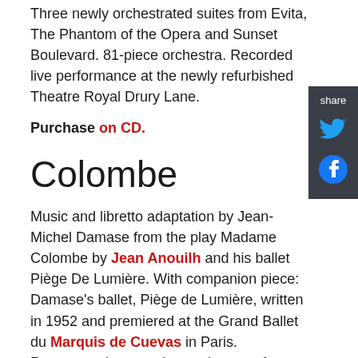Three newly orchestrated suites from Evita, The Phantom of the Opera and Sunset Boulevard. 81-piece orchestra. Recorded live performance at the newly refurbished Theatre Royal Drury Lane.
Purchase on CD.
Colombe
Music and libretto adaptation by Jean-Michel Damase from the play Madame Colombe by Jean Anouilh and his ballet Piège De Lumière. With companion piece: Damase's ballet, Piège de Lumière, written in 1952 and premiered at the Grand Ballet du Marquis de Cuevas in Paris. Remastered rom reel-to-reel tapes of a October 6, 1967, radio broadcast in Paris. The ballet was also taken from reel-to-reel tapes and has also been spruced up.